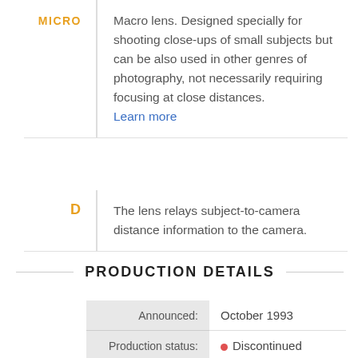MICRO — Macro lens. Designed specially for shooting close-ups of small subjects but can be also used in other genres of photography, not necessarily requiring focusing at close distances. Learn more
D — The lens relays subject-to-camera distance information to the camera.
PRODUCTION DETAILS
|  |  |
| --- | --- |
| Announced: | October 1993 |
| Production status: | Discontinued |